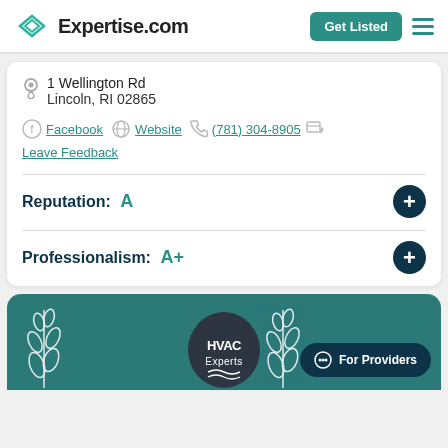Expertise.com — Get Listed
1 Wellington Rd
Lincoln, RI 02865
Facebook | Website | (781) 304-8905 | Leave Feedback
Reputation: A
Professionalism: A+
[Figure (logo): HVAC Experts logo on teal background with wheat decorations and For Providers button]